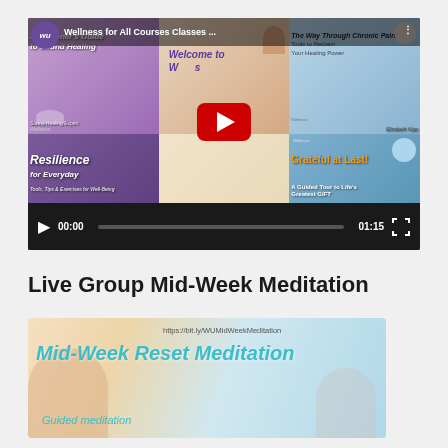[Figure (screenshot): Embedded YouTube video player showing 'Wellness for All Courses Classes...' channel with a mosaic of wellness course thumbnails including Sound Healing, Mid-Week Meditation, Resilience for Everyday, Grateful at Last, with a large red YouTube play button overlay and video controls showing 00:00 / 01:15]
Live Group Mid-Week Meditation
[Figure (photo): Promotional banner image for Mid-Week Reset Meditation with teal/cyan text on a warm gradient background, showing URL https://bit.ly/WUMidWeekMeditation, title 'Mid-Week Reset Meditation' in large italic teal font, and subtitle 'Guided meditation' in italic teal font below]